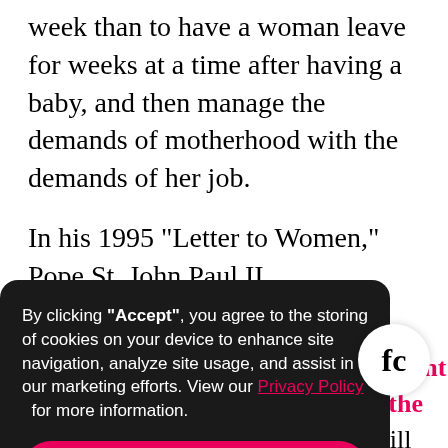week than to have a woman leave for weeks at a time after having a baby, and then manage the demands of motherhood with the demands of her job.
In his 1995 “Letter to Women,” Pope St. John Paul II
omen in society
ctions present
rding to the
, and it will
ay which
which mark
ertly or
oman’s career
[Figure (screenshot): Cookie consent overlay with dark background. Text: 'By clicking "Accept", you agree to the storing of cookies on your device to enhance site navigation, analyze site usage, and assist in our marketing efforts. View our Privacy Policy for more information.' Pink 'Accept' button and 'More Information' link below.]
[Figure (logo): FC logo in white circle, bottom right corner]